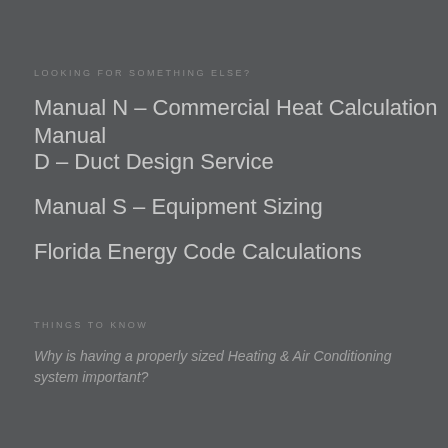LOOKING FOR SOMETHING ELSE?
Manual N – Commercial Heat Calculation Manual
D – Duct Design Service
Manual S – Equipment Sizing
Florida Energy Code Calculations
THINGS TO KNOW
Why is having a properly sized Heating & Air Conditioning system important?